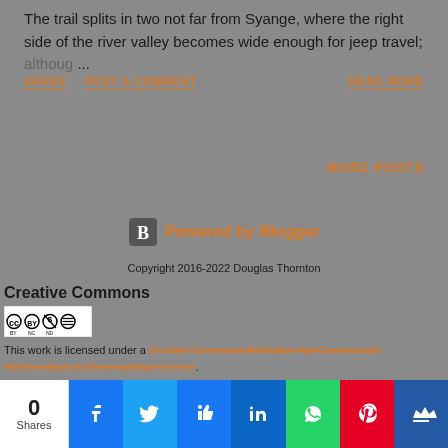The trail splits in two not far from Syange, where the right side of the river valley becomes wide enough for jeep travel; althoug ...
SHARE  POST A COMMENT  READ MORE
MORE POSTS
Powered by Blogger
Copyright 2016-2022 Douglas Thornton
Creative Commons
[Figure (logo): Creative Commons BY NC ND license badge]
This work is licensed under a Creative Commons Attribution-NonCommercial-NoDerivatives 4.0 International License.
0 Shares | Facebook | Twitter | Like | LinkedIn | WhatsApp | Pinterest | Crown